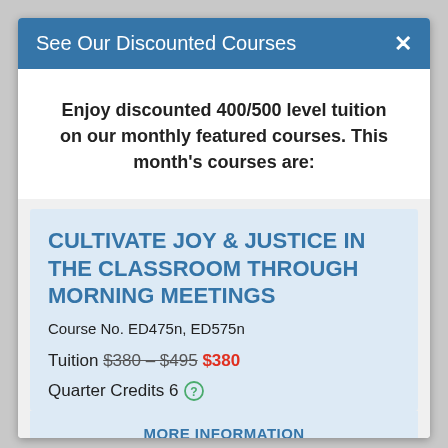See Our Discounted Courses
Enjoy discounted 400/500 level tuition on our monthly featured courses. This month's courses are:
CULTIVATE JOY & JUSTICE IN THE CLASSROOM THROUGH MORNING MEETINGS
Course No. ED475n, ED575n
Tuition $380 – $495 $380
Quarter Credits 6
MORE INFORMATION
REGISTER NOW